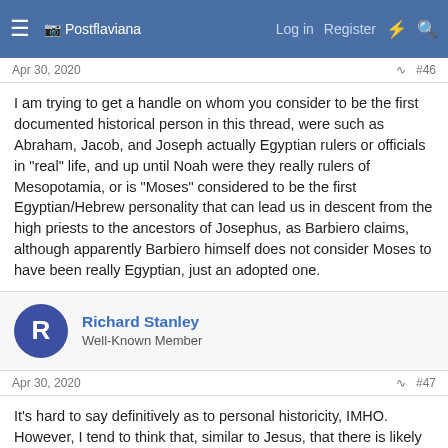Postflaviana — Log in  Register
Apr 30, 2020  #46
I am trying to get a handle on whom you consider to be the first documented historical person in this thread, were such as Abraham, Jacob, and Joseph actually Egyptian rulers or officials in "real" life, and up until Noah were they really rulers of Mesopotamia, or is "Moses" considered to be the first Egyptian/Hebrew personality that can lead us in descent from the high priests to the ancestors of Josephus, as Barbiero claims, although apparently Barbiero himself does not consider Moses to have been really Egyptian, just an adopted one.
Richard Stanley
Well-Known Member
Apr 30, 2020  #47
It's hard to say definitively as to personal historicity, IMHO. However, I tend to think that, similar to Jesus, that there is likely